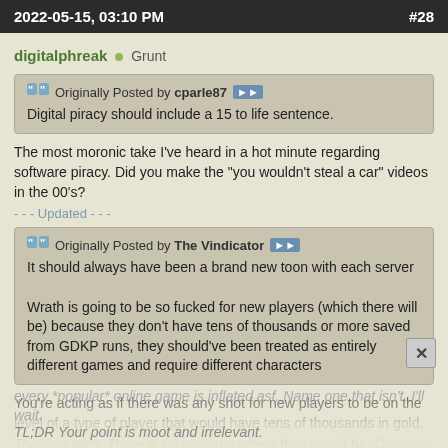2022-05-15, 03:10 PM  #28
digitalphreak  Grunt
Originally Posted by cparle87
Digital piracy should include a 15 to life sentence.
The most moronic take I've heard in a hot minute regarding software piracy. Did you make the "you wouldn't steal a car" videos in the 00's?
- - - Updated - - -
Originally Posted by The Vindicator
It should always have been a brand new toon with each server

Wrath is going to be so fucked for new players (which there will be) because they don't have tens of thousands or more saved from GDKP runs, they should've been treated as entirely different games and require different characters
You're acting as if there was any shot for new players to be on the level of a type of player that would have tens of thousands in gold. They wouldn't. There is no scenario where they would be. Currency in nearly every *popular* online game is inflated asf. Name one that isn't. I'll wait.
TL;DR Your point is moot and irrelevant.